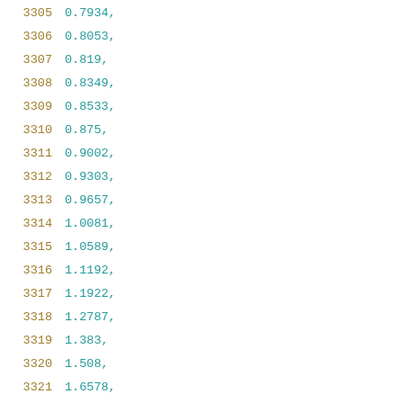3305    0.7934,
3306    0.8053,
3307    0.819,
3308    0.8349,
3309    0.8533,
3310    0.875,
3311    0.9002,
3312    0.9303,
3313    0.9657,
3314    1.0081,
3315    1.0589,
3316    1.1192,
3317    1.1922,
3318    1.2787,
3319    1.383,
3320    1.508,
3321    1.6578,
3322    1.8374
3323    ]
3324    ]
3325    },